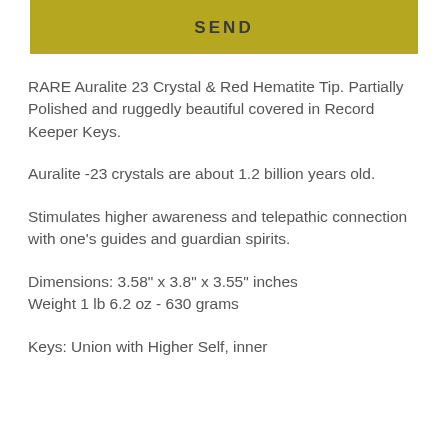SEND
RARE Auralite 23 Crystal & Red Hematite Tip. Partially Polished and ruggedly beautiful covered in Record Keeper Keys.
Auralite -23 crystals are about 1.2 billion years old.
Stimulates higher awareness and telepathic connection with one's guides and guardian spirits.
Dimensions: 3.58" x 3.8" x 3.55" inches
Weight 1 lb 6.2 oz - 630 grams
Keys: Union with Higher Self, inner